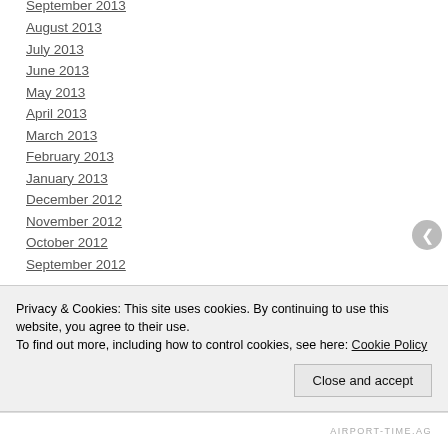September 2013
August 2013
July 2013
June 2013
May 2013
April 2013
March 2013
February 2013
January 2013
December 2012
November 2012
October 2012
September 2012
Privacy & Cookies: This site uses cookies. By continuing to use this website, you agree to their use.
To find out more, including how to control cookies, see here: Cookie Policy
Close and accept
AIRPORT-TIME.AG